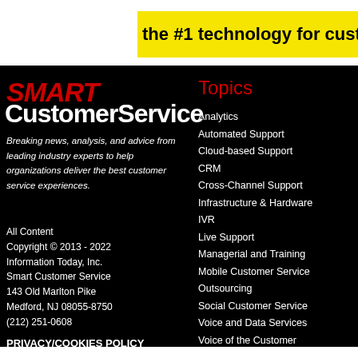the #1 technology for custome
[Figure (logo): SMART CustomerService logo — SMART in red bold, CustomerService in white bold]
Breaking news, analysis, and advice from leading industry experts to help organizations deliver the best customer service experiences.
All Content
Copyright © 2013 - 2022
Information Today, Inc.
Smart Customer Service
143 Old Marlton Pike
Medford, NJ 08055-8750
(212) 251-0608
Topics
Analytics
Automated Support
Cloud-based Support
CRM
Cross-Channel Support
Infrastructure & Hardware
IVR
Live Support
Managerial and Training
Mobile Customer Service
Outsourcing
Social Customer Service
Voice and Data Services
Voice of the Customer
PRIVACY/COOKIES POLICY